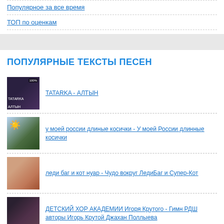Популярное за все время
ТОП по оценкам
ПОПУЛЯРНЫЕ ТЕКСТЫ ПЕСЕН
TATARKA - АЛТЫН
у моей россии длиные косички - У моей России длинные косички
леди баг и кот нуар - Чудо вокруг ЛедиБаг и Супер-Кот
ДЕТСКИЙ ХОР АКАДЕМИИ Игоря Крутого - Гимн РДШ авторы Игорь Крутой Джахан Поллыева
(5th item partial)